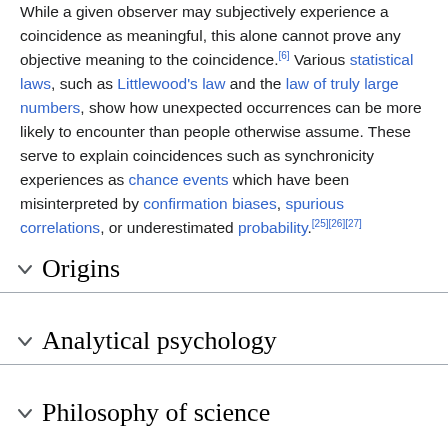While a given observer may subjectively experience a coincidence as meaningful, this alone cannot prove any objective meaning to the coincidence.[6] Various statistical laws, such as Littlewood's law and the law of truly large numbers, show how unexpected occurrences can be more likely to encounter than people otherwise assume. These serve to explain coincidences such as synchronicity experiences as chance events which have been misinterpreted by confirmation biases, spurious correlations, or underestimated probability.[25][26][27]
Origins
Analytical psychology
Philosophy of science